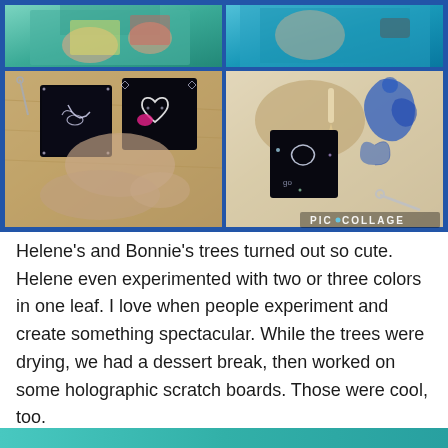[Figure (photo): A PicCollage photo collage with 4 panels showing hands working on holographic scratch board art. Top two panels show people (one in teal/green top, one in teal top with glasses). Bottom two panels show close-ups of hands scratching designs (hummingbird, heart) onto black holographic cards.]
Helene's and Bonnie's trees turned out so cute. Helene even experimented with two or three colors in one leaf. I love when people experiment and create something spectacular. While the trees were drying, we had a dessert break, then worked on some holographic scratch boards. Those were cool, too.